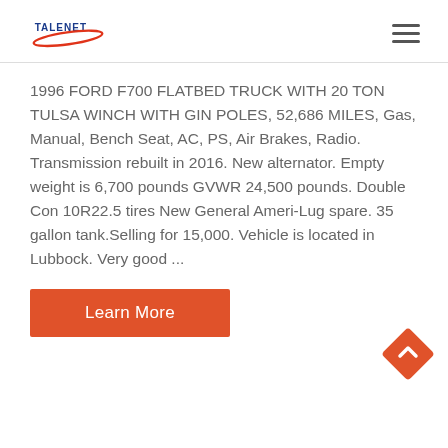[Figure (logo): TALENET logo with red swoosh and blue text]
1996 FORD F700 FLATBED TRUCK WITH 20 TON TULSA WINCH WITH GIN POLES, 52,686 MILES, Gas, Manual, Bench Seat, AC, PS, Air Brakes, Radio. Transmission rebuilt in 2016. New alternator. Empty weight is 6,700 pounds GVWR 24,500 pounds. Double Con 10R22.5 tires New General Ameri-Lug spare. 35 gallon tank.Selling for 15,000. Vehicle is located in Lubbock. Very good ...
Learn More